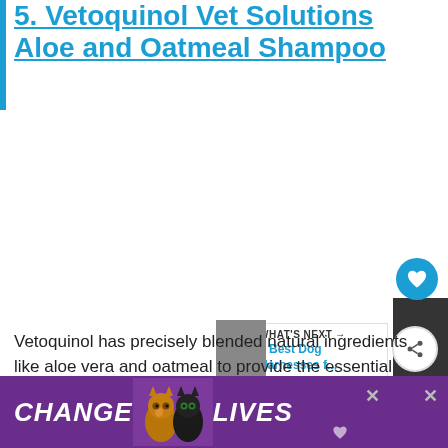5. Vetoquinol Vet Solutions Aloe and Oatmeal Shampoo
[Figure (photo): Product photo area (blank/white) for Vetoquinol Vet Solutions Aloe and Oatmeal Shampoo]
Vetoquinol has precisely blended natural ingredients like aloe vera and oatmeal to provide the essential nourishment and moisture to your p...
[Figure (screenshot): What's Next overlay with dog silhouette image and text '5 Best Dog Harnesses f...' alongside like (heart) button showing count 1, and share button]
[Figure (photo): Advertisement banner: purple background with cats and text 'CHANGE LIVES' with close buttons]